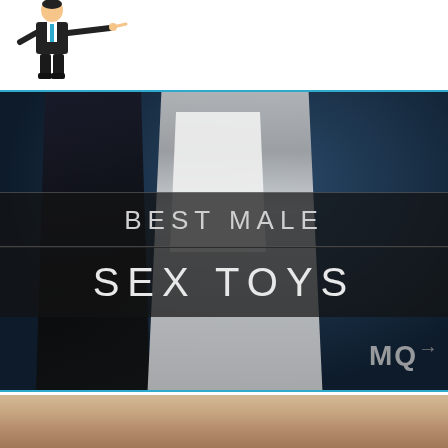[Figure (illustration): Cartoon mascot figure in business suit pointing right, positioned in top-left area of page]
[Figure (photo): Promotional image with two male figures (one in dark shirt, one in white shirt/underwear) against a dark blue background, with overlaid text banners reading 'BEST MALE' and 'SEX TOYS' and a partial 'MQ' logo watermark in the lower right]
[Figure (photo): Partial view of male torso/body, cropped at bottom of page, against light background]